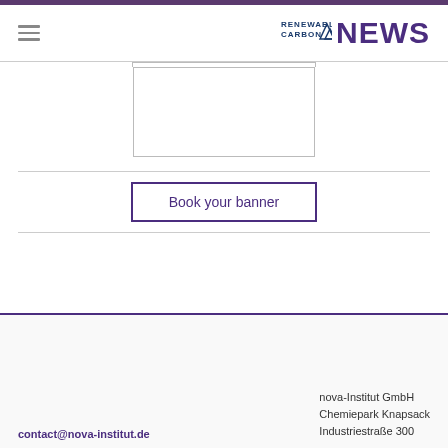RENEWABLE CARBON NEWS
[Figure (other): Empty banner placeholder box with border]
Book your banner
contact@nova-institut.de
nova-Institut GmbH
Chemiepark Knapsack
Industriestraße 300